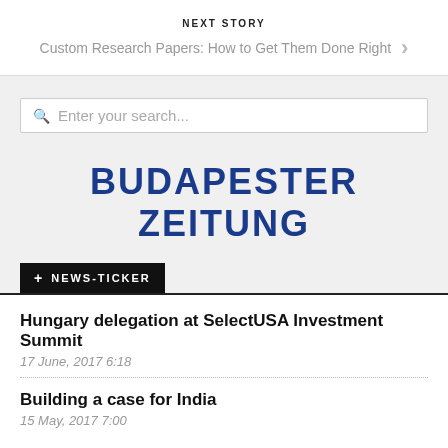NEXT STORY
Custom Research Papers: How to Get Them Done Right
[Figure (other): Search input field with placeholder text 'Enter your search...']
[Figure (logo): Budapester Zeitung logo in bold blue text]
+ NEWS-TICKER
Hungary delegation at SelectUSA Investment Summit
17 June, 2017 6:18
Building a case for India
15 May, 2017 7:00